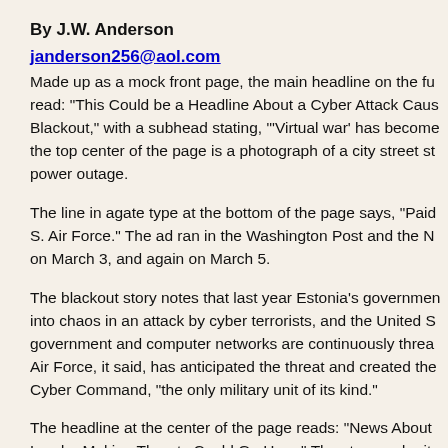By J.W. Anderson
janderson256@aol.com
Made up as a mock front page, the main headline on the fu read: “This Could be a Headline About a Cyber Attack Caus Blackout,” with a subhead stating, ‘’Virtual war’ has become the top center of the page is a photograph of a city street s power outage.
The line in agate type at the bottom of the page says, “Paid S. Air Force.” The ad ran in the Washington Post and the N on March 3, and again on March 5.
The blackout story notes that last year Estonia’s governme into chaos in an attack by cyber terrorists, and the United S government and computer networks are continuously threa Air Force, it said, has anticipated the threat and created the Cyber Command, “the only military unit of its kind.”
The headline at the center of the page reads: “News About Leader Making Threats Could Go Here.” The story under it reader what the Air Force is doing to ward off “would-be ag Next to that article is a picture of a group of shadowy men w weapons.